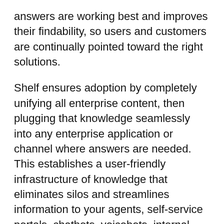answers are working best and improves their findability, so users and customers are continually pointed toward the right solutions.
Shelf ensures adoption by completely unifying all enterprise content, then plugging that knowledge seamlessly into any enterprise application or channel where answers are needed. This establishes a user-friendly infrastructure of knowledge that eliminates silos and streamlines information to your agents, self-service portals, chatbots, voicebots, internal teams and more.
Answers are only as good as the content and articles they reference—that's why Shelf also enables more highly productive knowledge